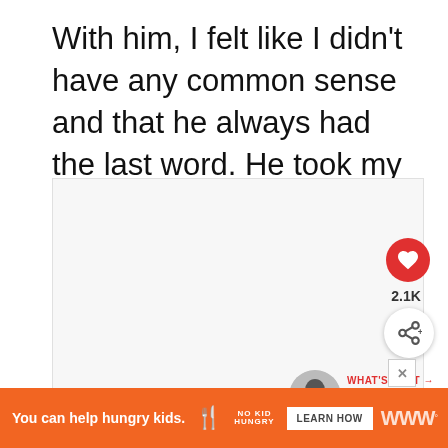With him, I felt like I didn't have any common sense and that he always had the last word. He took my sanity, my free will and my right to judge.
[Figure (screenshot): Content area box with social interaction buttons: heart/like button (red circle) with 2.1K likes, and a share button (white circle with share icon). A 'What's Next' widget showing a silhouette avatar and text 'To The Woman Who Lost...']
[Figure (infographic): Orange advertisement banner at bottom: 'You can help hungry kids.' with No Kid Hungry logo and 'LEARN HOW' button, plus brand watermark on right]